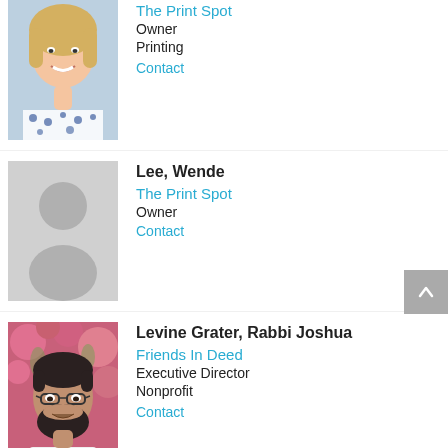[Figure (photo): Photo of a smiling woman with short blonde hair wearing a patterned top]
The Print Spot
Owner
Printing
Contact
[Figure (photo): Generic silhouette placeholder image]
Lee, Wende
The Print Spot
Owner
Contact
[Figure (photo): Photo of a man with glasses and dark beard, smiling, with pink flowers in background]
Levine Grater, Rabbi Joshua
Friends In Deed
Executive Director
Nonprofit
Contact
[Figure (photo): Partial photo of a person with light brown hair, cut off at bottom of page]
Lewis, Deborah
Audio Description Solutions